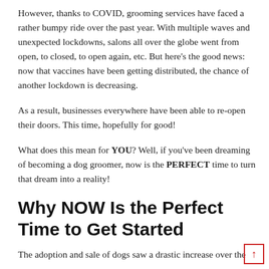However, thanks to COVID, grooming services have faced a rather bumpy ride over the past year. With multiple waves and unexpected lockdowns, salons all over the globe went from open, to closed, to open again, etc. But here’s the good news: now that vaccines have been getting distributed, the chance of another lockdown is decreasing.
As a result, businesses everywhere have been able to re-open their doors. This time, hopefully for good!
What does this mean for YOU? Well, if you’ve been dreaming of becoming a dog groomer, now is the PERFECT time to turn that dream into a reality!
Why NOW Is the Perfect Time to Get Started
The adoption and sale of dogs saw a drastic increase over the